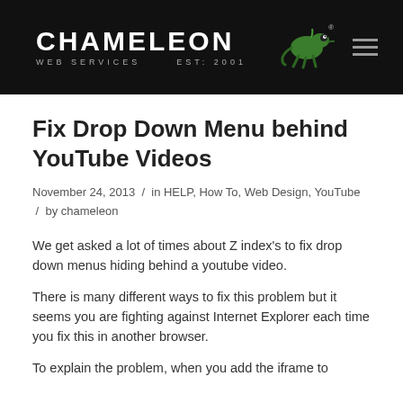[Figure (logo): Chameleon Web Services logo with green chameleon icon on black background, EST: 2001]
Fix Drop Down Menu behind YouTube Videos
November 24, 2013 / in HELP, How To, Web Design, YouTube / by chameleon
We get asked a lot of times about Z index's to fix drop down menus hiding behind a youtube video.
There is many different ways to fix this problem but it seems you are fighting against Internet Explorer each time you fix this in another browser.
To explain the problem, when you add the iframe to